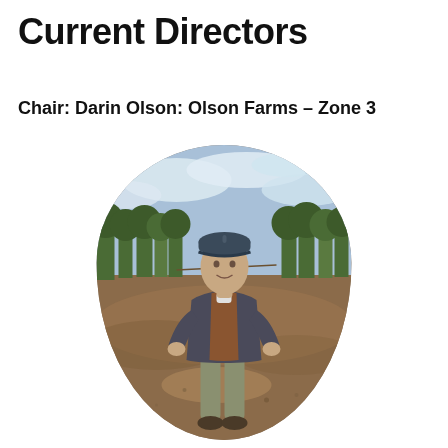Current Directors
Chair: Darin Olson: Olson Farms – Zone 3
[Figure (photo): Oval-framed photograph of Darin Olson standing in an orchard field with hands on hips, wearing a dark jacket, khaki pants, and a baseball cap. Trees visible in background under a cloudy sky.]